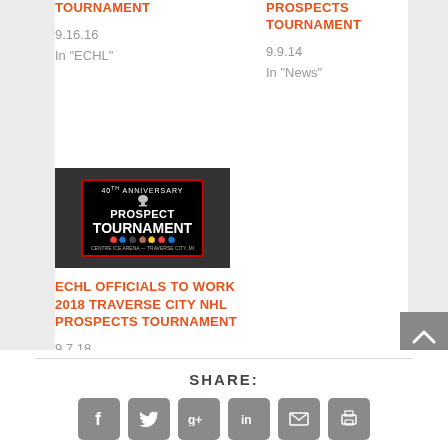TOURNAMENT
9.16.16
In "ECHL"
PROSPECTS TOURNAMENT
9.9.14
In "News"
[Figure (photo): NHL Prospect Tournament logo with trophy on dark arena background, 40th anniversary branding, Centre Ice Arena - Traverse City, MI]
ECHL OFFICIALS TO WORK 2018 TRAVERSE CITY NHL PROSPECTS TOURNAMENT
9.7.18
In "ECHL"
SHARE: